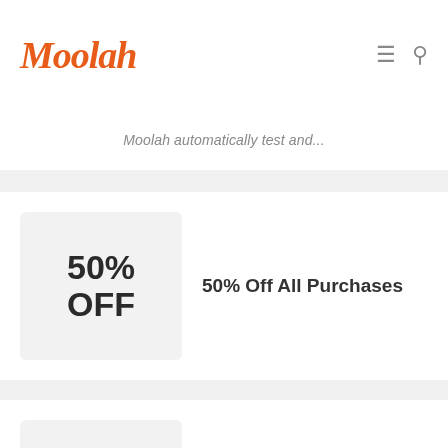Moolah
Moolah automatically test and...
[Figure (other): Coupon badge showing '50% OFF']
50% Off All Purchases
[Figure (other): Coupon badge showing 'SALE']
Tap Offer To Copy The Deal Code. Remember To Paste...